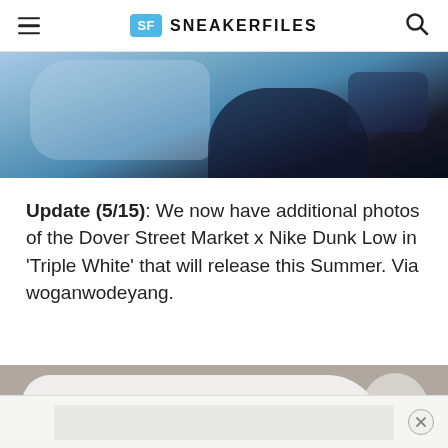SF SNEAKERFILES
[Figure (photo): Cropped top portion of a Nike Dunk Low sneaker in blue/dark colorway, close-up view from above]
Update (5/15): We now have additional photos of the Dover Street Market x Nike Dunk Low in 'Triple White' that will release this Summer. Via woganwodeyang.
[Figure (photo): Nike Dunk Low sneaker in Triple White colorway on a grey/tan background, side profile view showing the entire shoe with white upper, white swoosh, and white sole]
[Figure (photo): Advertisement banner at the bottom of the page with a close button (X)]